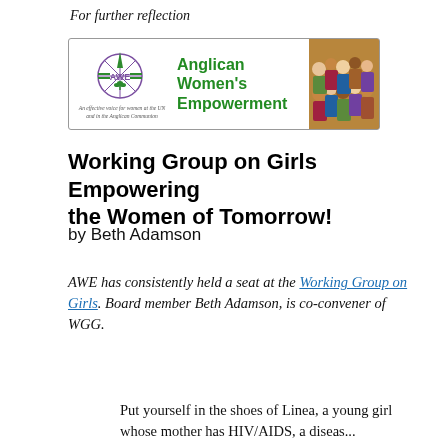For further reflection
[Figure (logo): Anglican Women's Empowerment (AWE) banner logo with compass/AWE emblem on the left, green bold text 'Anglican Women's Empowerment' in the center, tagline 'An effective voice for women at the UN and in the Anglican Communion', and a group photo of diverse people on the right.]
Working Group on Girls Empowering the Women of Tomorrow!
by Beth Adamson
AWE has consistently held a seat at the Working Group on Girls. Board member Beth Adamson, is co-convener of WGG.
Put yourself in the shoes of Linea, a young girl whose mother has HIV/AIDS, a disease...